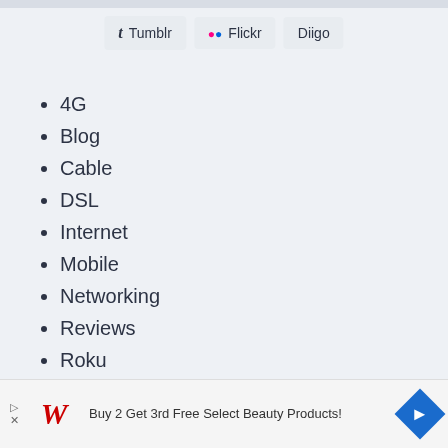[Figure (other): Social sharing buttons: Tumblr, Flickr, Diigo]
4G
Blog
Cable
DSL
Internet
Mobile
Networking
Reviews
Roku
Routers
[Figure (other): Advertisement banner: Buy 2 Get 3rd Free Select Beauty Products! with Walgreens logo and navigation arrow icon]